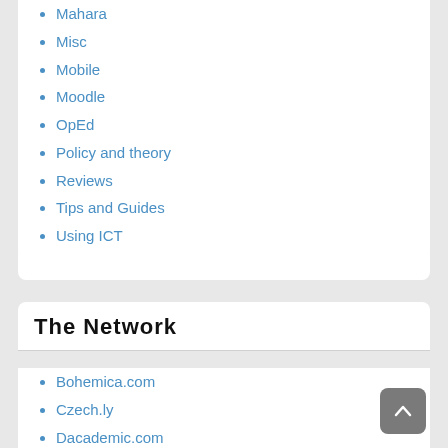Mahara
Misc
Mobile
Moodle
OpEd
Policy and theory
Reviews
Tips and Guides
Using ICT
The Network
Bohemica.com
Czech.ly
Dacademic.com
DominikLukes.net
EduVoodoo.net
MetaphorHacker.net
Researchity.net